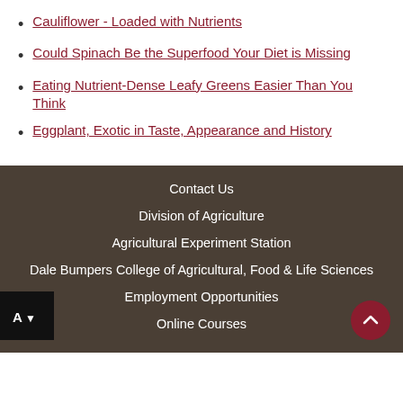Cauliflower - Loaded with Nutrients
Could Spinach Be the Superfood Your Diet is Missing
Eating Nutrient-Dense Leafy Greens Easier Than You Think
Eggplant, Exotic in Taste, Appearance and History
Contact Us | Division of Agriculture | Agricultural Experiment Station | Dale Bumpers College of Agricultural, Food & Life Sciences | Employment Opportunities | Online Courses